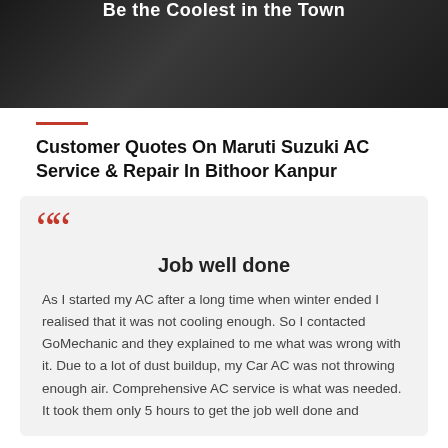[Figure (photo): Dark background image with text 'Be the Coolest in the Town' in white bold font]
Customer Quotes On Maruti Suzuki AC Service & Repair In Bithoor Kanpur
Job well done
As I started my AC after a long time when winter ended I realised that it was not cooling enough. So I contacted GoMechanic and they explained to me what was wrong with it. Due to a lot of dust buildup, my Car AC was not throwing enough air. Comprehensive AC service is what was needed. It took them only 5 hours to get the job well done and